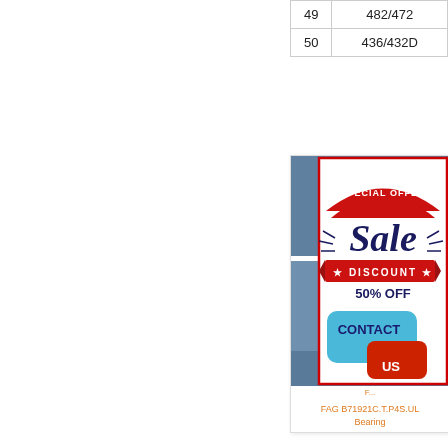| 49 | 482/472 |
| 50 | 436/432D |
[Figure (infographic): Advertisement overlay showing 'SPECIAL OFFER Sale DISCOUNT 50% OFF' banner in red and navy, and a 'CONTACT US' speech bubble graphic in teal/blue, overlaid on a product listing page for FAG bearings.]
FAG B71921C.T.P4S.UL Bearing